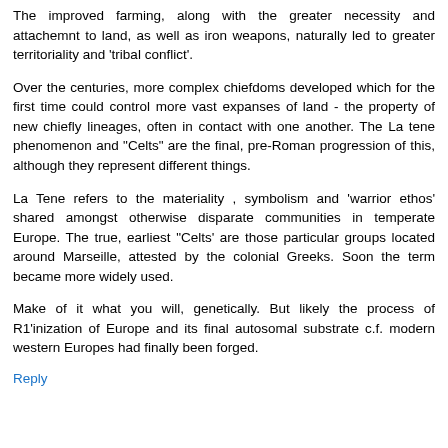The improved farming, along with the greater necessity and attachemnt to land, as well as iron weapons, naturally led to greater territoriality and 'tribal conflict'.
Over the centuries, more complex chiefdoms developed which for the first time could control more vast expanses of land - the property of new chiefly lineages, often in contact with one another. The La tene phenomenon and "Celts" are the final, pre-Roman progression of this, although they represent different things.
La Tene refers to the materiality , symbolism and 'warrior ethos' shared amongst otherwise disparate communities in temperate Europe. The true, earliest "Celts' are those particular groups located around Marseille, attested by the colonial Greeks. Soon the term became more widely used.
Make of it what you will, genetically. But likely the process of R1'inization of Europe and its final autosomal substrate c.f. modern western Europes had finally been forged.
Reply